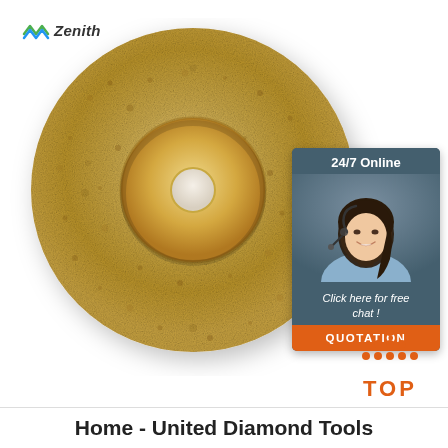[Figure (logo): Zenith company logo with green arrow/zigzag icon and bold text 'Zenith']
[Figure (photo): Gold/bronze diamond grinding cup wheel disc for angle grinder, circular with textured abrasive surface and center hole, photographed on white background]
[Figure (infographic): Dark blue-grey sidebar box showing '24/7 Online' header, photo of smiling woman with headset, text 'Click here for free chat!', and orange 'QUOTATION' button]
[Figure (illustration): Orange 'TOP' badge with upward-pointing triangle/house shape made of dots above the word TOP in orange bold text]
Home - United Diamond Tools